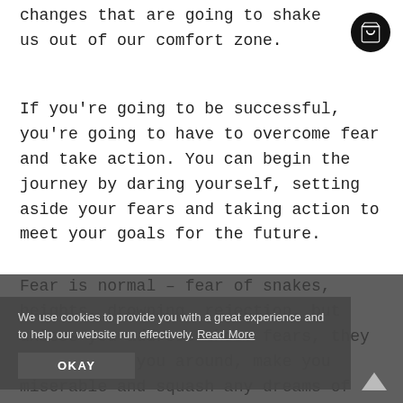changes that are going to shake us out of our comfort zone.
If you're going to be successful, you're going to have to overcome fear and take action. You can begin the journey by daring yourself, setting aside your fears and taking action to meet your goals for the future.
Fear is normal – fear of snakes, heights, drowning, rejection, but unless you address those fears, they will follow you around, make you miserable and squash any dreams of success you may have.
We use cookies to provide you with a great experience and to help our website run effectively. Read More
OKAY